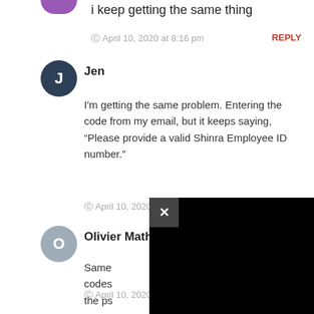i keep getting the same thing
April 10, 2020 at 8:16 pm
REPLY
Jen
I'm getting the same problem. Entering the code from my email, but it keeps saying, “Please provide a valid Shinra Employee ID number.”
April 10, 2020 at 9:18 pm
REPLY
Olivier Mathie
Same codes the ps
April 10, 2020 at 10:06 pm
REPLY
[Figure (other): Black overlay popup with X close button obscuring part of the comment section]